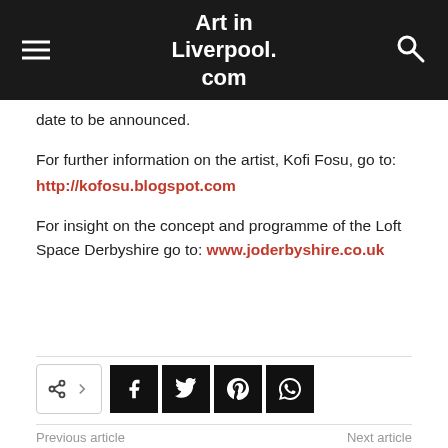Art in Liverpool.com
date to be announced.
For further information on the artist, Kofi Fosu, go to:
http://kofosu.blogspot.com
For insight on the concept and programme of the Loft Space Derbyshire go to: www.joderbyshire.co.uk
[Figure (other): Social share bar with share icon, arrow, and social media buttons for Facebook, Twitter, Pinterest, and WhatsApp]
Previous article | Next article
Artwork of the Day – Claire | 'Escape from Genesis' by